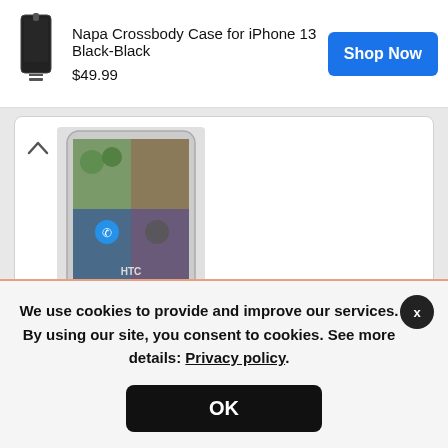[Figure (screenshot): Ad banner showing Napa Crossbody Case for iPhone 13 Black-Black with product image, price $49.99, and Shop Now button]
[Figure (screenshot): HTC smartphone product card with specs: 5 inch IPS screen, 13MP camera, 1GB RAM, 2000mAh battery]
[Figure (screenshot): HTC One M9 product listing card with phone image and 2 models found dropdown]
We use cookies to provide and improve our services. By using our site, you consent to cookies. See more details: Privacy policy.